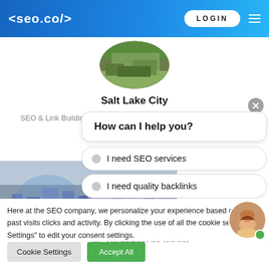<seo.co/>  LOGIN
[Figure (photo): Circular cropped aerial photo of Salt Lake City]
Salt Lake City
SEO & Link Building
[Figure (screenshot): Chat widget with options: How can I help you? I need SEO services, I need quality backlinks, I need content writing, I'm looking for pricing]
[Figure (photo): Aerial/cityscape photo of Salt Lake City used as background]
Here at the SEO company, we personalize your experience based on your past visits clicks and activity. By clicking the use of all the cookie settings Settings" to edit your consent settings.
[Figure (photo): Avatar photo of a smiling woman with brown hair]
Cookie Settings
Accept All